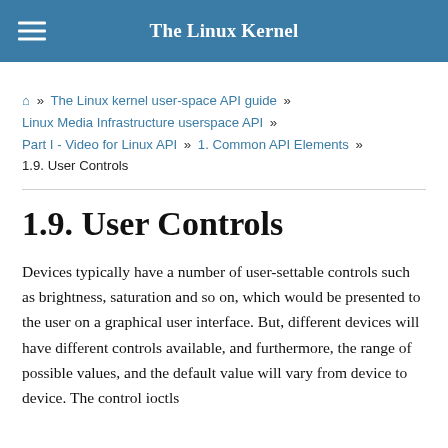The Linux Kernel
🏠 » The Linux kernel user-space API guide » Linux Media Infrastructure userspace API » Part I - Video for Linux API » 1. Common API Elements » 1.9. User Controls
1.9. User Controls
Devices typically have a number of user-settable controls such as brightness, saturation and so on, which would be presented to the user on a graphical user interface. But, different devices will have different controls available, and furthermore, the range of possible values, and the default value will vary from device to device. The control ioctls provide the information about devices to capture.